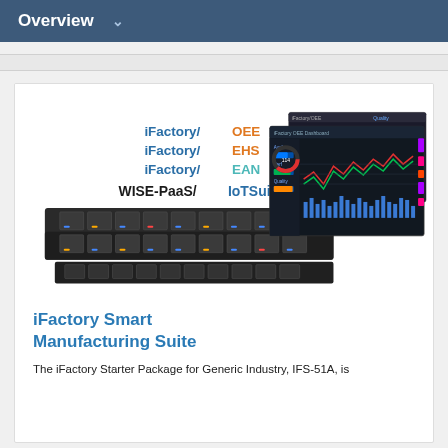Overview
[Figure (illustration): Product photo of an Advantech server/storage appliance (IFS-51A rack unit with drive bays) alongside floating dashboard screens showing OEE, EHS, EAN, and IoTSuite analytics. Text labels read: iFactory/OEE, iFactory/EHS, iFactory/EAN, WISE-PaaS/IoTSuite]
iFactory Smart Manufacturing Suite
The iFactory Starter Package for Generic Industry, IFS-51A, is